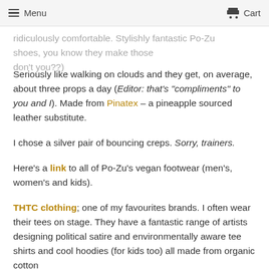Menu | Cart
ridiculously comfortable. Stylishly fantastic Po-Zu shoes, you know they make those don't you??)
Seriously like walking on clouds and they get, on average, about three props a day (Editor: that's "compliments" to you and I). Made from Pinatex – a pineapple sourced leather substitute.
I chose a silver pair of bouncing creps. Sorry, trainers.
Here's a link to all of Po-Zu's vegan footwear (men's, women's and kids).
THTC clothing; one of my favourites brands. I often wear their tees on stage. They have a fantastic range of artists designing political satire and environmentally aware tee shirts and cool hoodies (for kids too) all made from organic cotton